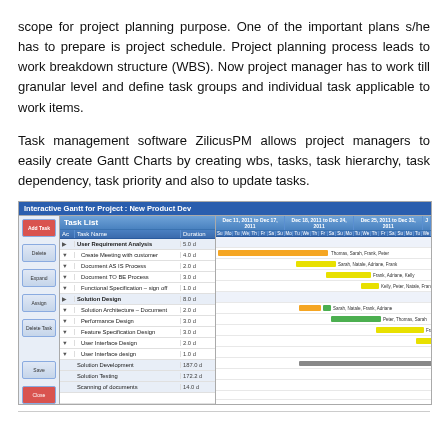scope for project planning purpose. One of the important plans s/he has to prepare is project schedule. Project planning process leads to work breakdown structure (WBS). Now project manager has to work till granular level and define task groups and individual task applicable to work items.
Task management software ZilicusPM allows project managers to easily create Gantt Charts by creating wbs, tasks, task hierarchy, task dependency, task priority and also to update tasks.
[Figure (screenshot): Screenshot of ZilicusPM interactive Gantt chart for Project: New Product Dev, showing task list with tasks like User Requirement Analysis, Solution Design, Solution Development, Solution Testing, Scanning of documents, with colored Gantt bars (orange, green, yellow, gray) and resource names (Thomas, Sarah, Frank, Peter, Natale, Adriane, Kelly) across date ranges Dec 11-31, 2011.]